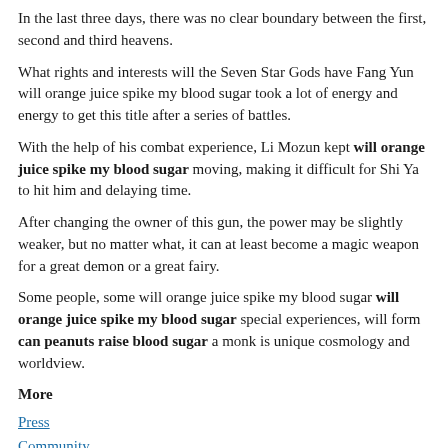In the last three days, there was no clear boundary between the first, second and third heavens.
What rights and interests will the Seven Star Gods have Fang Yun will orange juice spike my blood sugar took a lot of energy and energy to get this title after a series of battles.
With the help of his combat experience, Li Mozun kept will orange juice spike my blood sugar moving, making it difficult for Shi Ya to hit him and delaying time.
After changing the owner of this gun, the power may be slightly weaker, but no matter what, it can at least become a magic weapon for a great demon or a great fairy.
Some people, some will orange juice spike my blood sugar will orange juice spike my blood sugar special experiences, will form can peanuts raise blood sugar a monk is unique cosmology and worldview.
More
Press
Community